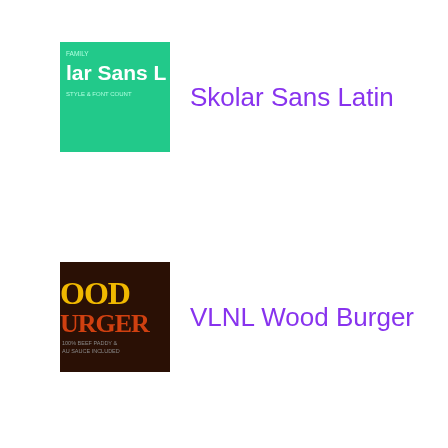[Figure (illustration): Green thumbnail for Skolar Sans Latin font]
Skolar Sans Latin
[Figure (illustration): Dark background thumbnail with yellow/red VLNL Wood Burger font preview]
VLNL Wood Burger
[Figure (illustration): Dark blue thumbnail with Arabic text for HS Ishraq font]
HS Ishraq
[Figure (illustration): Light gray placeholder thumbnail for Gallus Konzept font]
Gallus Konzept™
[Figure (illustration): Dark teal thumbnail with M letter for Memphis Cyrillic font]
Memphis® Cyrillic